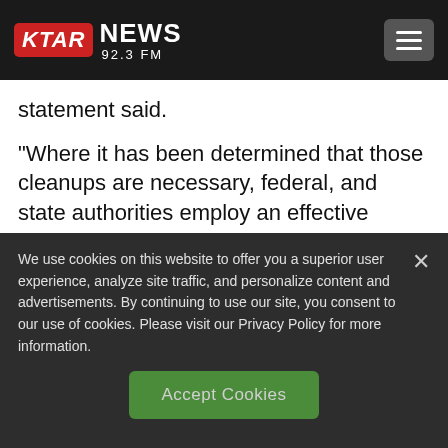KTAR NEWS 92.3 FM
statement said.
“Where it has been determined that those cleanups are necessary, federal, and state authorities employ an effective system to identify dischargers and allocate clean-up
We use cookies on this website to offer you a superior user experience, analyze site traffic, and personalize content and advertisements. By continuing to use our site, you consent to our use of cookies. Please visit our Privacy Policy for more information.
Accept Cookies